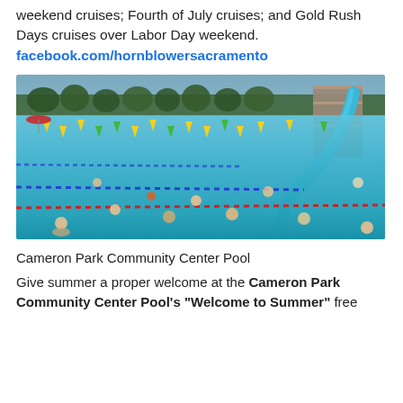weekend cruises; Fourth of July cruises; and Gold Rush Days cruises over Labor Day weekend. facebook.com/hornblowersacramento
[Figure (photo): Outdoor swimming pool with people swimming, colorful triangular flags strung across the pool, a blue water slide structure on the right side, trees and blue sky in the background.]
Cameron Park Community Center Pool
Give summer a proper welcome at the Cameron Park Community Center Pool's "Welcome to Summer" free